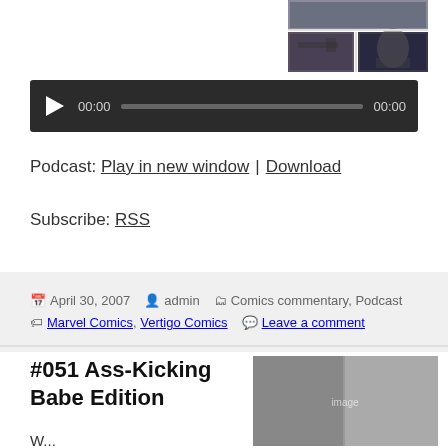[Figure (illustration): Comic book image grid showing action scenes and character portraits, positioned top right]
[Figure (screenshot): Audio player widget with dark background, play button, time display 00:00 on both sides, and progress bar]
Podcast: Play in new window | Download
Subscribe: RSS
April 30, 2007  admin  Comics commentary, Podcast  Marvel Comics, Vertigo Comics  Leave a comment
#051 Ass-Kicking Babe Edition
W...